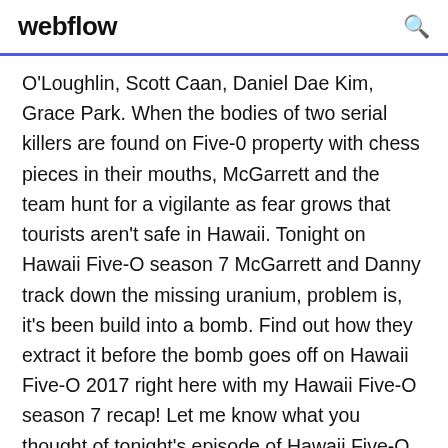webflow
O'Loughlin, Scott Caan, Daniel Dae Kim, Grace Park. When the bodies of two serial killers are found on Five-0 property with chess pieces in their mouths, McGarrett and the team hunt for a vigilante as fear grows that tourists aren't safe in Hawaii. Tonight on Hawaii Five-O season 7 McGarrett and Danny track down the missing uranium, problem is, it's been build into a bomb. Find out how they extract it before the bomb goes off on Hawaii Five-O 2017 right here with my Hawaii Five-O season 7 recap! Let me know what you thought of tonight's episode of Hawaii Five-O 2017 in the comments below! Thanksgiving brings Grover's parents and brother Percy Jr. to Oahu for a visit tainted by